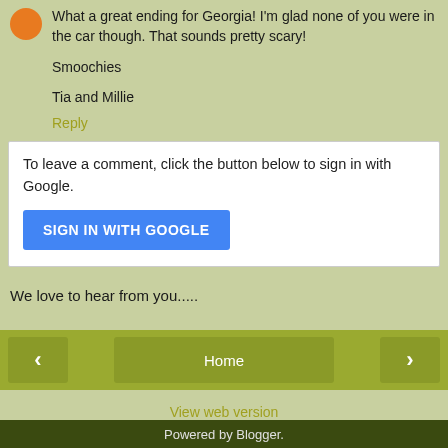What a great ending for Georgia! I'm glad none of you were in the car though. That sounds pretty scary!
Smoochies
Tia and Millie
Reply
To leave a comment, click the button below to sign in with Google.
SIGN IN WITH GOOGLE
We love to hear from you.....
Home
View web version
Powered by Blogger.